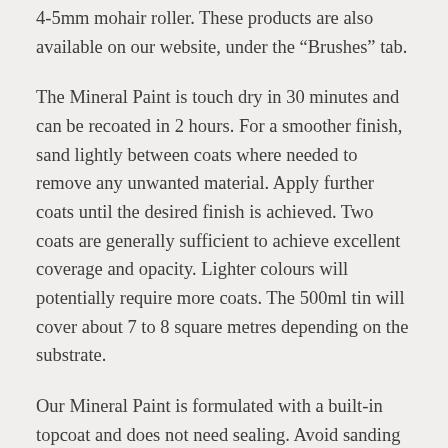4-5mm mohair roller. These products are also available on our website, under the “Brushes” tab.
The Mineral Paint is touch dry in 30 minutes and can be recoated in 2 hours. For a smoother finish, sand lightly between coats where needed to remove any unwanted material. Apply further coats until the desired finish is achieved. Two coats are generally sufficient to achieve excellent coverage and opacity. Lighter colours will potentially require more coats. The 500ml tin will cover about 7 to 8 square metres depending on the substrate.
Our Mineral Paint is formulated with a built-in topcoat and does not need sealing. Avoid sanding the final coat of paint where possible, as this will disturb the built-in topcoat and will need resealing.